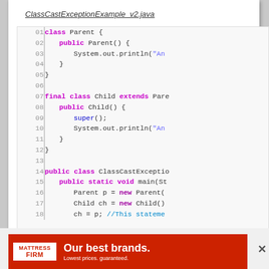class.
ClassCastExceptionExample_v2.java
[Figure (screenshot): Java code editor showing ClassCastExceptionExample_v2.java with line numbers 01-18. Code defines a Parent class, a final Child class extending Parent, and a public class ClassCastExceptionExample with a main method. Keywords shown in purple/bold, strings in blue-purple, comments in blue.]
ADVERTISEMENT